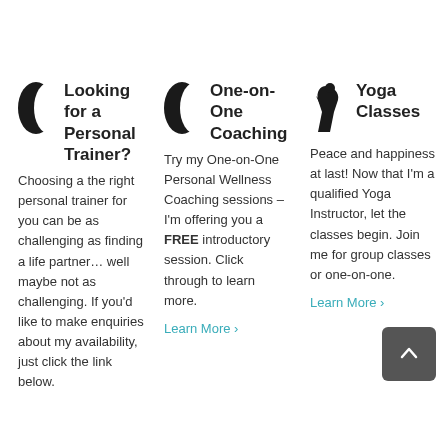Looking for a Personal Trainer?
Choosing a the right personal trainer for you can be as challenging as finding a life partner… well maybe not as challenging. If you'd like to make enquiries about my availability, just click the link below.
One-on-One Coaching
Try my One-on-One Personal Wellness Coaching sessions – I'm offering you a FREE introductory session. Click through to learn more.
Learn More ›
Yoga Classes
Peace and happiness at last! Now that I'm a qualified Yoga Instructor, let the classes begin. Join me for group classes or one-on-one.
Learn More ›